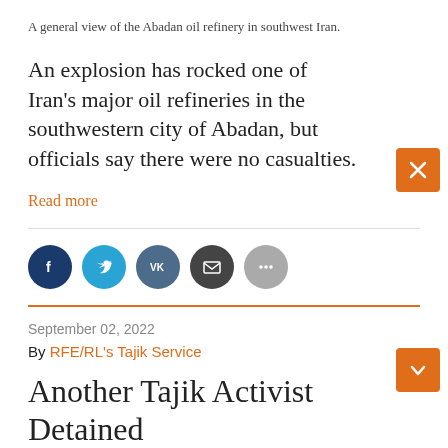A general view of the Abadan oil refinery in southwest Iran.
An explosion has rocked one of Iran's major oil refineries in the southwestern city of Abadan, but officials say there were no casualties.
Read more
[Figure (other): Social media sharing icons: Facebook, Twitter, VK, Email, More]
September 02, 2022
By RFE/RL's Tajik Service
Another Tajik Activist Detained